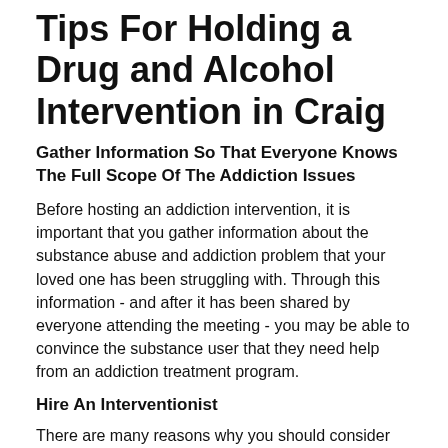Tips For Holding a Drug and Alcohol Intervention in Craig
Gather Information So That Everyone Knows The Full Scope Of The Addiction Issues
Before hosting an addiction intervention, it is important that you gather information about the substance abuse and addiction problem that your loved one has been struggling with. Through this information - and after it has been shared by everyone attending the meeting - you may be able to convince the substance user that they need help from an addiction treatment program.
Hire An Interventionist
There are many reasons why you should consider hiring an interventionist to help you organize, run, and complete an alcohol and drug addiction intervention meeting. As a family, you might have been able to talk to each other